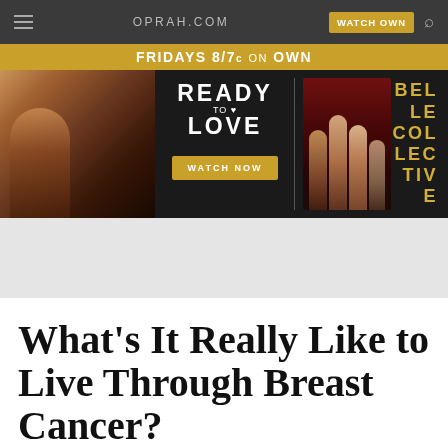OPRAH.COM
[Figure (screenshot): OWN TV advertisement banner for 'Ready to Love' and 'Belle Collective' shows airing Fridays 8/7c on OWN, with a 'Watch Now' button]
What's It Really Like to Live Through Breast Cancer?